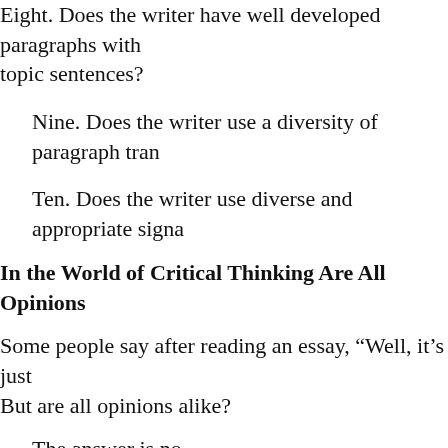Eight. Does the writer have well developed paragraphs with topic sentences?
Nine. Does the writer use a diversity of paragraph tran
Ten. Does the writer use diverse and appropriate signa
In the World of Critical Thinking Are All Opinions
Some people say after reading an essay, “Well, it’s just But are all opinions alike?
The answer is no.
Robert Atwan in his American Now textbook writes six of opinions.
As you will see, some are more appropriate for the kin